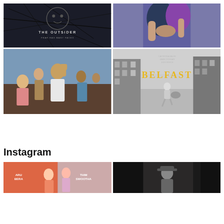[Figure (photo): Movie poster for 'The Outsider' - dark background with text 'THE OUTSIDER' and tagline 'FEAR HAS MANY FACES']
[Figure (photo): Photo of two people hugging, one wearing a purple shirt]
[Figure (photo): Malayalam movie poster showing group of people including a man with raised fist]
[Figure (photo): Movie poster for 'BELFAST' - black and white image of a child running in a street, with yellow text 'BELFAST']
Instagram
[Figure (photo): Instagram image - movie poster with text fragments visible]
[Figure (photo): Instagram image - dark scene with person]